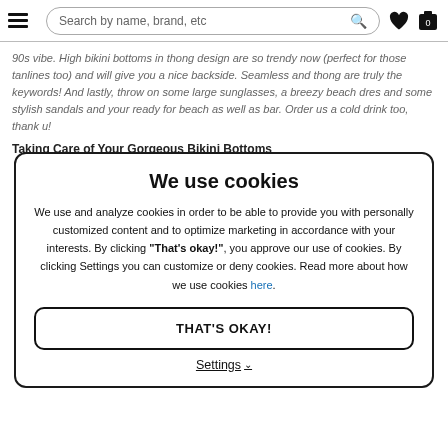Search by name, brand, etc
90s vibe. High bikini bottoms in thong design are so trendy now (perfect for those tanlines too) and will give you a nice backside. Seamless and thong are truly the keywords! And lastly, throw on some large sunglasses, a breezy beach dres and some stylish sandals and your ready for beach as well as bar. Order us a cold drink too, thank u!
Taking Care of Your Gorgeous Bikini Bottoms
We use cookies
We use and analyze cookies in order to be able to provide you with personally customized content and to optimize marketing in accordance with your interests. By clicking "That's okay!", you approve our use of cookies. By clicking Settings you can customize or deny cookies. Read more about how we use cookies here.
THAT'S OKAY!
Settings